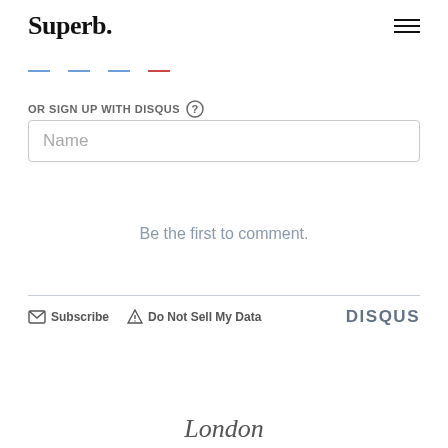Superb.
[Figure (other): Social media login icons row (Facebook, Twitter, Google+, Email)]
OR SIGN UP WITH DISQUS
[Figure (other): Name input field with placeholder 'Name']
Be the first to comment.
Subscribe   Do Not Sell My Data   DISQUS
London